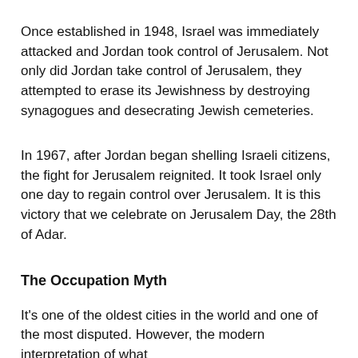Once established in 1948, Israel was immediately attacked and Jordan took control of Jerusalem. Not only did Jordan take control of Jerusalem, they attempted to erase its Jewishness by destroying synagogues and desecrating Jewish cemeteries.
In 1967, after Jordan began shelling Israeli citizens, the fight for Jerusalem reignited. It took Israel only one day to regain control over Jerusalem. It is this victory that we celebrate on Jerusalem Day, the 28th of Adar.
The Occupation Myth
It's one of the oldest cities in the world and one of the most disputed. However, the modern interpretation of what